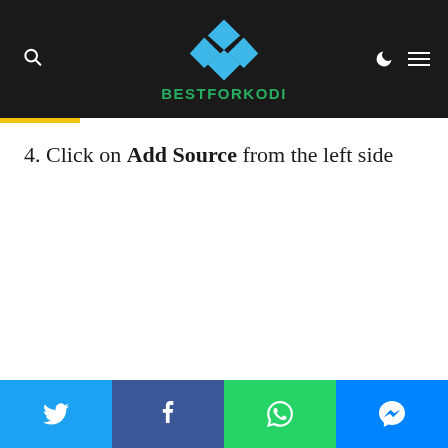[Figure (logo): BestForKodi website header with dark background, Kodi logo (blue diamond shapes), green BESTFORKODI text, search icon on left, moon and hamburger menu icons on right]
4. Click on Add Source from the left side
[Figure (infographic): Social share bar at bottom with Twitter (blue), Facebook (dark blue), WhatsApp (green), and Messenger (blue) buttons]